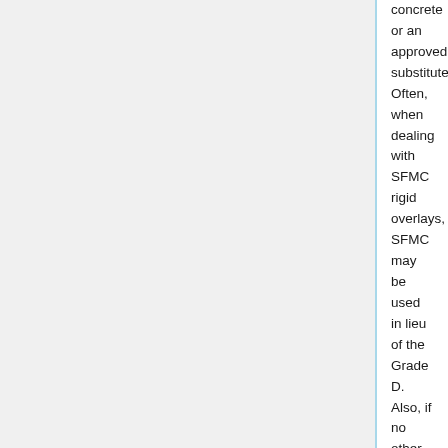concrete or an approved substitute. Often, when dealing with SFMC rigid overlays, SFMC may be used in lieu of the Grade D. Also, if no other Grade D is set up on the project a Bridge Deck Joint Repair (BDJR) mix may be substituted for the Grade D. The BDJR is a 7-sack mix with a smaller 26A coarse aggregate to help achieve consolidation around the congested resteel near the joints. The BDJR typically achieves 2000 psi compressive strength within 24 hours and can be opened to traffic, making this suitable mix for projects that must be open to traffic quickly. After placement of concrete, apply a layer of wet burlap (which has soaked for at least 12 hours) over the fresh concrete. Cover with a 4-mil thick layer of polyethylene until the concrete has reached the desired